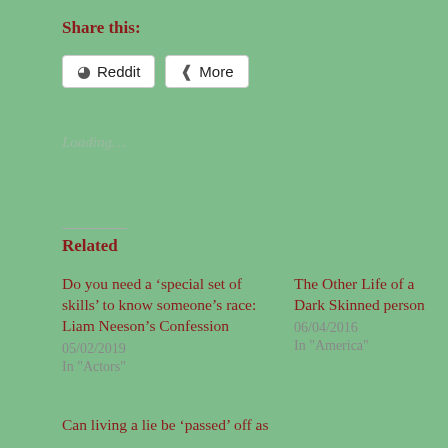Share this:
Reddit   More
Loading...
Related
Do you need a 'special set of skills' to know someone's race: Liam Neeson's Confession
05/02/2019
In "Actors"
The Other Life of a Dark Skinned person
06/04/2016
In "America"
Can living a lie be 'passed' off as